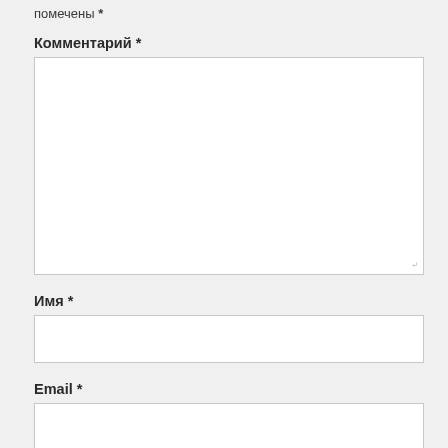помечены *
Комментарий *
[Figure (other): Large textarea input field for comment]
Имя *
[Figure (other): Text input field for name]
Email *
[Figure (other): Text input field for email]
Сайт
[Figure (other): Text input field for website]